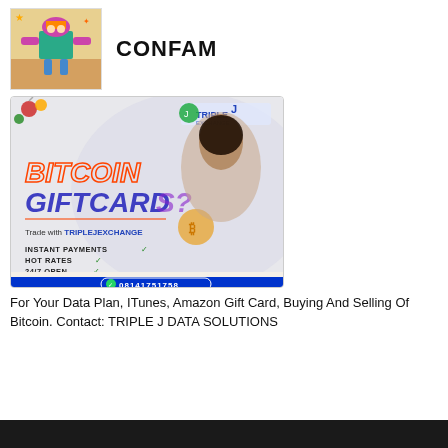[Figure (logo): Colorful logo image with orange/teal/purple design]
CONFAM
[Figure (infographic): Triple J Exchange advertisement banner: Bitcoin/Giftcards promotion with a smiling woman, Christmas decorations, text: BITCOIN GIFTCARDS?, Trade with TRIPLEJEXCHANGE, INSTANT PAYMENTS, HOT RATES, 24/7 OPEN, phone number 08141751758]
For Your Data Plan, ITunes, Amazon Gift Card, Buying And Selling Of Bitcoin. Contact: TRIPLE J DATA SOLUTIONS